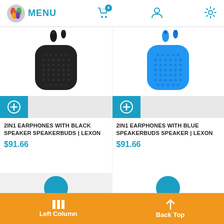MENU | Cart (0) | User | Settings
[Figure (photo): Black 2-in-1 earphones with speaker case (Lexon Speakerbuds, black)]
[Figure (photo): Blue 2-in-1 earphones with speaker case (Lexon Speakerbuds, blue)]
2IN1 EARPHONES WITH BLACK SPEAKER SPEAKERBUDS | LEXON
$91.66
2IN1 EARPHONES WITH BLUE SPEAKERBUDS SPEAKER | LEXON
$91.66
Left Column | Back Top